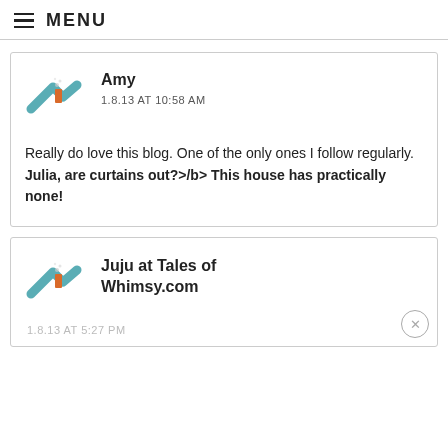MENU
Amy
1.8.13 AT 10:58 AM
Really do love this blog. One of the only ones I follow regularly. Julia, are curtains out?>/b> This house has practically none!
Juju at Tales of Whimsy.com
1.8.13 AT 5:27 PM